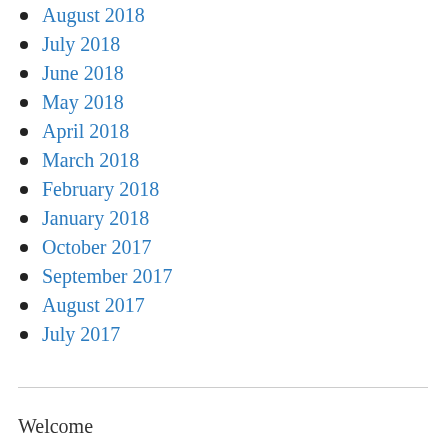August 2018
July 2018
June 2018
May 2018
April 2018
March 2018
February 2018
January 2018
October 2017
September 2017
August 2017
July 2017
Welcome